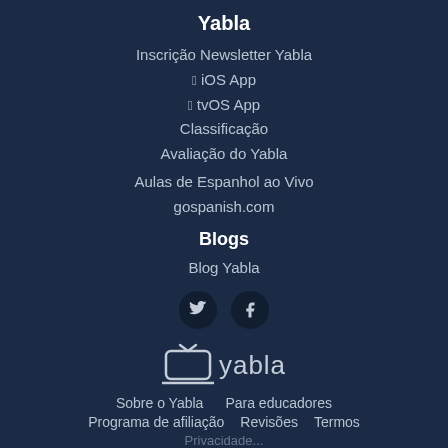Yabla
Inscrição Newsletter Yabla
🍎 iOS App
🍎 tvOS App
Classificação
Avaliação do Yabla
Aulas de Espanhol ao Vivo
gospanish.com
Blogs
Blog Yabla
[Figure (illustration): Twitter and Facebook social media icon buttons (dark circular background)]
[Figure (logo): Yabla logo with TV icon and text 'yabla']
Sobre o Yabla   Para educadores
Programa de afiliação   Revisões   Termos
Privacidade...